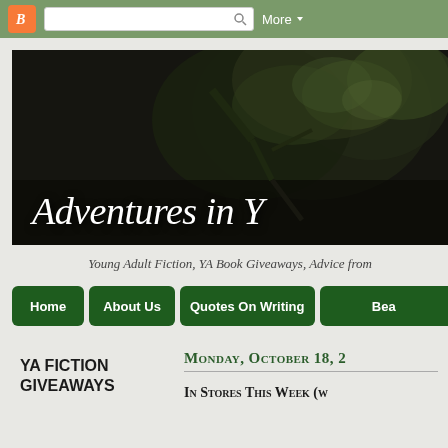Blogger navigation bar with search and More dropdown
[Figure (screenshot): Blog header banner image showing dark forest/tree background with italic serif title text 'Adventures in Y' (partially cropped)]
Young Adult Fiction, YA Book Giveaways, Advice from
[Figure (infographic): Navigation bar with dark green buttons: Home, About Us, Quotes On Writing, Bea (partially cropped)]
YA FICTION GIVEAWAYS
Monday, October 18, 2
In Stores This Week (w